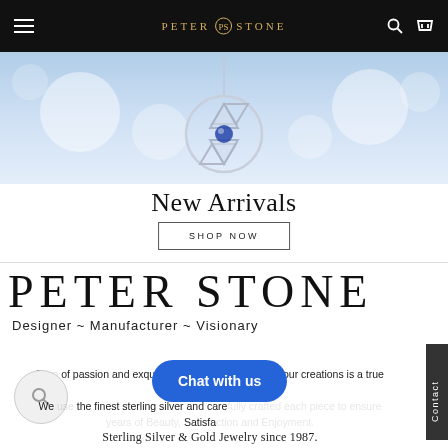Peter Stone — Est. 1987 (navigation header with hamburger menu, logo, search and cart icons)
[Figure (photo): Hero banner showing a Star of David pendant necklace in sterling silver with blue sapphire center stone, on a light blue bokeh background]
New Arrivals
SHOP NOW
[Figure (logo): Peter Stone large serif logotype with tagline: Designer ~ Manufacturer ~ Visionary]
Born of passion and exquisitely crafted, every one of our creations is a true work of art.
We use the finest sterling silver and carefully craft each piece to ensure years of Beauty, Satisfaction and Enjoyment.
Sterling Silver & Gold Jewelry since 1987.